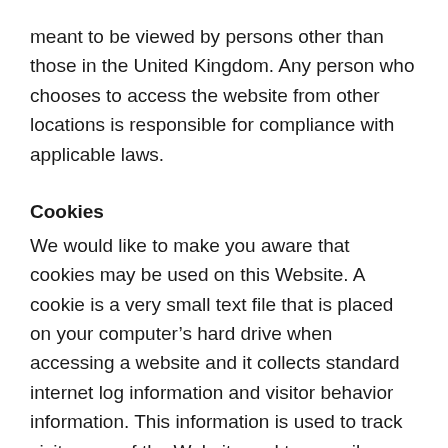meant to be viewed by persons other than those in the United Kingdom. Any person who chooses to access the website from other locations is responsible for compliance with applicable laws.
Cookies
We would like to make you aware that cookies may be used on this Website. A cookie is a very small text file that is placed on your computer’s hard drive when accessing a website and it collects standard internet log information and visitor behavior information. This information is used to track visitor use of the Website and to compile statistical reports on website activity.
You can set your browser to refuse cookies and you can find out more information on how to refuse and delete